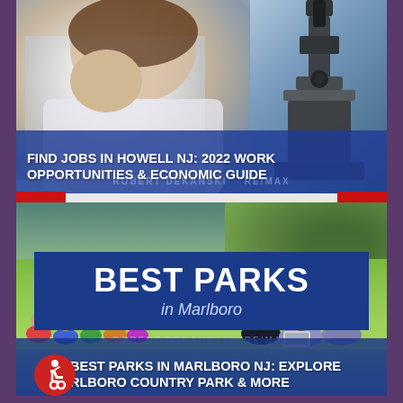[Figure (photo): Photo of a woman in a white lab coat looking through a microscope, with a dark microscope visible on the right side. Blue overlay at bottom with watermark text ROBERT DEKANSKI RE/MAX.]
FIND JOBS IN HOWELL NJ: 2022 WORK OPPORTUNITIES & ECONOMIC GUIDE
[Figure (photo): Outdoor park scene with green grass and trees. Blue banner overlay in the center reads BEST PARKS in Marlboro. Groups of people sitting on the grass. Watermark text ROBERT DEKANSKI RE/MAX at bottom.]
BEST PARKS IN MARLBORO NJ: EXPLORE MARLBORO COUNTRY PARK & MORE